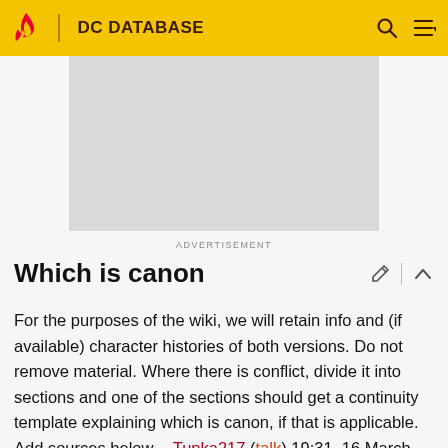DC DATABASE
[Figure (other): Advertisement placeholder area (gray rectangle)]
ADVERTISEMENT
Which is canon
For the purposes of the wiki, we will retain info and (if available) character histories of both versions. Do not remove material. Where there is conflict, divide it into sections and one of the sections should get a continuity template explaining which is canon, if that is applicable. Add sources below. --Tupka217 (talk) 19:31, 16 March 2021 (UTC)